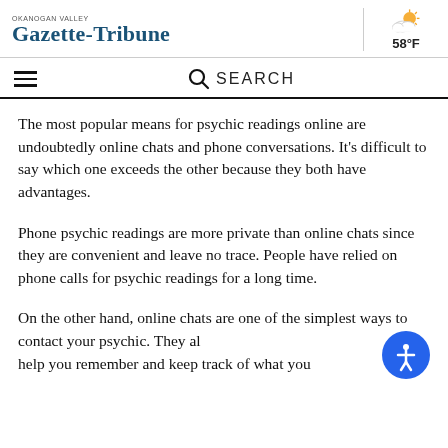OKANOGAN VALLEY GAZETTE-TRIBUNE 58°F
The most popular means for psychic readings online are undoubtedly online chats and phone conversations. It's difficult to say which one exceeds the other because they both have advantages.
Phone psychic readings are more private than online chats since they are convenient and leave no trace. People have relied on phone calls for psychic readings for a long time.
On the other hand, online chats are one of the simplest ways to contact your psychic. They also help you remember and keep track of what you